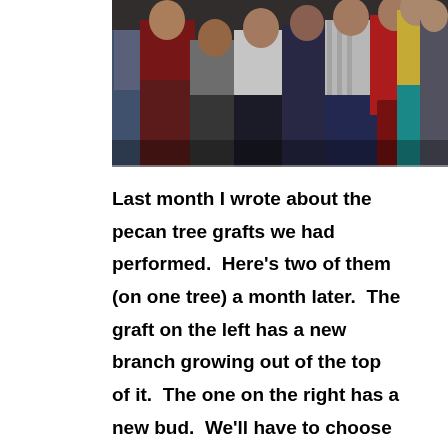[Figure (photo): Group photo of approximately 9 women standing together, some wearing red tops, white tops, patterned skirts and dresses, posed against a dark background.]
Last month I wrote about the pecan tree grafts we had performed.  Here's two of them (on one tree) a month later.  The graft on the left has a new branch growing out of the top of it.  The one on the right has a new bud.  We'll have to choose between them